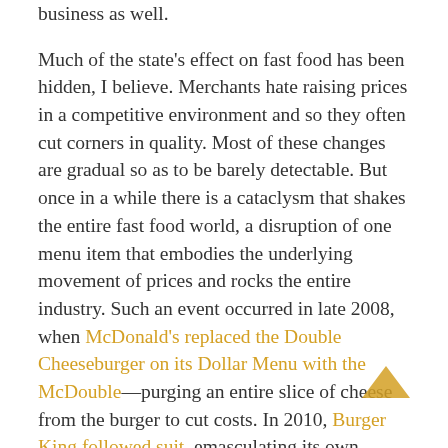business as well.

Much of the state's effect on fast food has been hidden, I believe. Merchants hate raising prices in a competitive environment and so they often cut corners in quality. Most of these changes are gradual so as to be barely detectable. But once in a while there is a cataclysm that shakes the entire fast food world, a disruption of one menu item that embodies the underlying movement of prices and rocks the entire industry. Such an event occurred in late 2008, when McDonald's replaced the Double Cheeseburger on its Dollar Menu with the McDouble—purging an entire slice of cheese from the burger to cut costs. In 2010, Burger King followed suit, emasculating its own double cheeseburger.

Through all this madness, one institution has